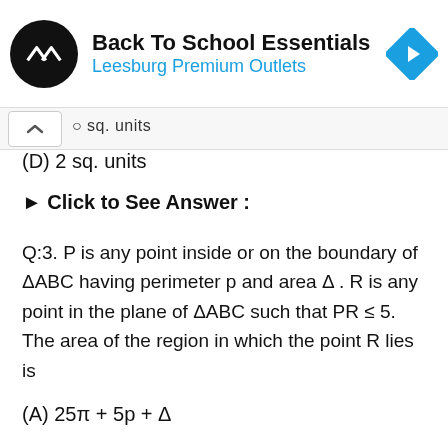[Figure (logo): Back To School Essentials – Leesburg Premium Outlets advertisement banner with circular black logo with double arrow symbol and blue navigation diamond icon]
○ sq. units
(D) 2 sq. units
▶ Click to See Answer :
Q:3. P is any point inside or on the boundary of ΔABC having perimeter p and area Δ . R is any point in the plane of ΔABC such that PR ≤ 5. The area of the region in which the point R lies is
(A) 25π + 5p + Δ